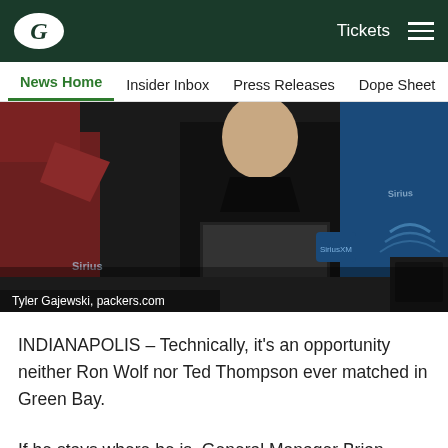Green Bay Packers – Tickets
News Home  Insider Inbox  Press Releases  Dope Sheet  Game
[Figure (photo): Man in black jacket seated at a table with microphone and water bottle, Sirius XM backdrop. Photo credit: Tyler Gajewski, packers.com]
Tyler Gajewski, packers.com
INDIANAPOLIS – Technically, it's an opportunity neither Ron Wolf nor Ted Thompson ever matched in Green Bay.
If he stays where he is, General Manager Brian Gutekunst will pick three of the first 44 players in the